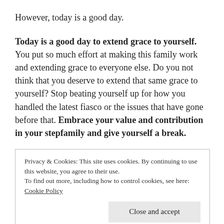However, today is a good day.
Today is a good day to extend grace to yourself. You put so much effort at making this family work and extending grace to everyone else. Do you not think that you deserve to extend that same grace to yourself? Stop beating yourself up for how you handled the latest fiasco or the issues that have gone before that. Embrace your value and contribution in your stepfamily and give yourself a break.
Today is a good day to forgive. After learning to
Privacy & Cookies: This site uses cookies. By continuing to use this website, you agree to their use.
To find out more, including how to control cookies, see here: Cookie Policy
it's for you and it is, especially when you forgive